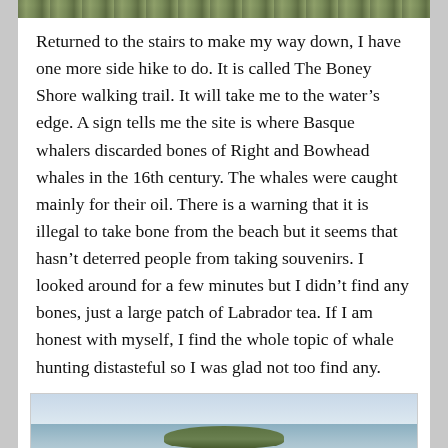[Figure (photo): Top portion of a landscape/nature photo, showing green vegetation, partially cropped at top of page]
Returned to the stairs to make my way down, I have one more side hike to do. It is called The Boney Shore walking trail. It will take me to the water's edge. A sign tells me the site is where Basque whalers discarded bones of Right and Bowhead whales in the 16th century. The whales were caught mainly for their oil. There is a warning that it is illegal to take bone from the beach but it seems that hasn't deterred people from taking souvenirs. I looked around for a few minutes but I didn't find any bones, just a large patch of Labrador tea. If I am honest with myself, I find the whole topic of whale hunting distasteful so I was glad not too find any.
[Figure (photo): Coastal landscape photo showing water, a small island, and hilly terrain in the background. Partial text visible at bottom reading 'Boney Shore']